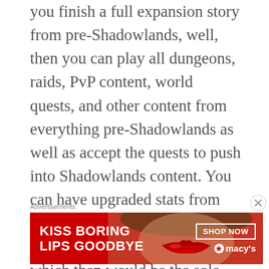you finish a full expansion story from pre-Shadowlands, well, then you can play all dungeons, raids, PvP content, world quests, and other content from everything pre-Shadowlands as well as accept the quests to push into Shadowlands content. You can have upgraded stats from this, or it just simply allows you to equip higher item level gear, which then would be the sole basis along which your player power progresses. I know this sounds weird at first, but think about it – the most
Advertisements
[Figure (other): Advertisement banner for Macy's lipstick: 'KISS BORING LIPS GOODBYE' with a woman's face showing red lips, SHOP NOW button, and Macy's star logo]